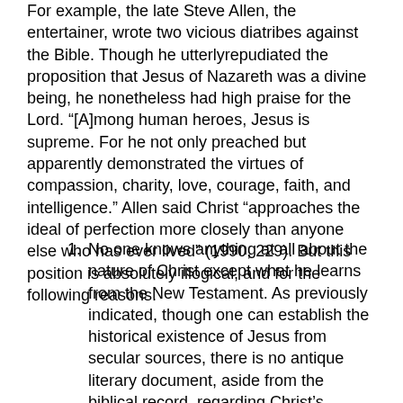For example, the late Steve Allen, the entertainer, wrote two vicious diatribes against the Bible. Though he utterlyrepudiated the proposition that Jesus of Nazareth was a divine being, he nonetheless had high praise for the Lord. “[A]mong human heroes, Jesus is supreme. For he not only preached but apparently demonstrated the virtues of compassion, charity, love, courage, faith, and intelligence.” Allen said Christ “approaches the ideal of perfection more closely than anyone else who has ever lived” (1990, 229). But this position is absolutely illogical, and for the following reasons.
No one knows anything at all about the nature of Christ except what he learns from the New Testament. As previously indicated, though one can establish the historical existence of Jesus from secular sources, there is no antique literary document, aside from the biblical record, regarding Christ’s personal character. One is thus dependent upon New Testament information — if he says